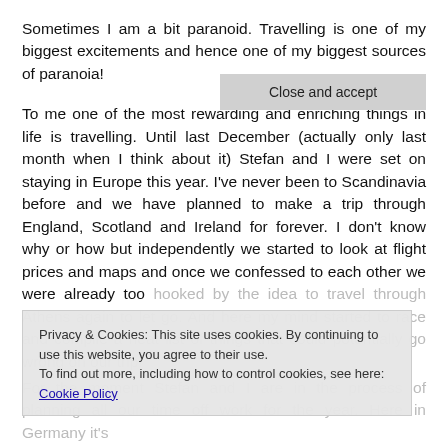Sometimes I am a bit paranoid. Travelling is one of my biggest excitements and hence one of my biggest sources of paranoia!
To me one of the most rewarding and enriching things in life is travelling. Until last December (actually only last month when I think about it) Stefan and I were set on staying in Europe this year. I've never been to Scandinavia before and we have planned to make a trip through England, Scotland and Ireland for forever. I don't know why or how but independently we started to look at flight prices and maps and once we confessed to each other we were already too hooked by the idea to travel through Athens again to let go. And here my mind started to race and compile a neat list of things that could potentially go wrong on our trip!
Privacy & Cookies: This site uses cookies. By continuing to use this website, you agree to their use. To find out more, including how to control cookies, see here: Cookie Policy
Close and accept
For the moment Stefan and I are in the process of planning all our time off work for the year. Here in Germany it's